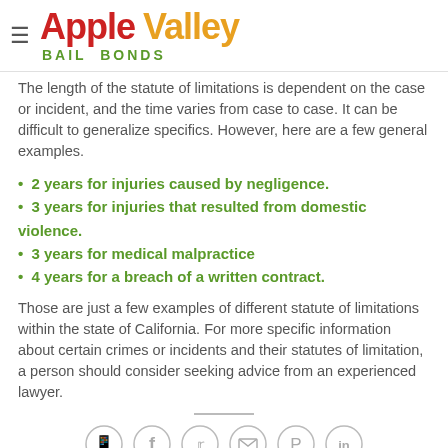Apple Valley Bail Bonds
The length of the statute of limitations is dependent on the case or incident, and the time varies from case to case. It can be difficult to generalize specifics. However, here are a few general examples.
2 years for injuries caused by negligence.
3 years for injuries that resulted from domestic violence.
3 years for medical malpractice
4 years for a breach of a written contract.
Those are just a few examples of different statute of limitations within the state of California. For more specific information about certain crimes or incidents and their statutes of limitation, a person should consider seeking advice from an experienced lawyer.